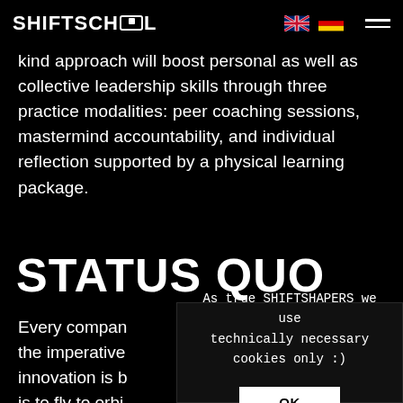SHIFTSCHOOL [logo] — navigation bar with UK and German flags, hamburger menu
kind approach will boost personal as well as collective leadership skills through three practice modalities: peer coaching sessions, mastermind accountability, and individual reflection supported by a physical learning package.
STATUS QUO
Every company … the imperative … innovation is b… is to fly to orbi… solutions and bring them back to the mother
As true SHIFTSHAPERS we use technically necessary cookies only :)  OK